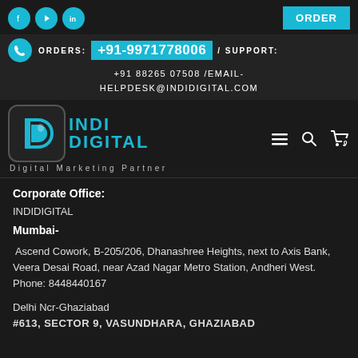Social icons: Facebook, YouTube, LinkedIn | ORDER button
ORDERS: +91-9971778006 / SUPPORT:
+91 88265 07508 /EMAIL- HELPDESK@INDIDIGITAL.COM
[Figure (logo): INDI DIGITAL logo with stylized D icon and text, tagline: Digital Marketing Partner]
Corporate Office:
INDIDIGITAL
Mumbai-
Ascend Cowork, B-205/206, Dhanashree Heights, next to Axis Bank, Veera Desai Road, near Azad Nagar Metro Station, Andheri West.
Phone: 8448440167
Delhi Ncr-Ghaziabad
#613, SECTOR 9, VASUNDHARA, GHAZIABAD